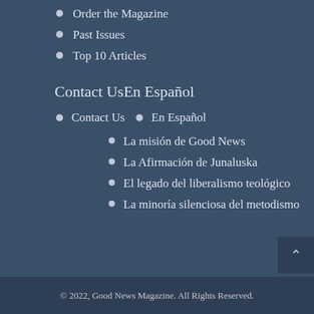Order the Magazine
Past Issues
Top 10 Articles
Contact UsEn Español
Contact Us  •  En Español
La misión de Good News
La Afirmación de Junaluska
El legado del liberalismo teológico
La minoría silenciosa del metodismo
© 2022, Good News Magazine. All Rights Reserved.